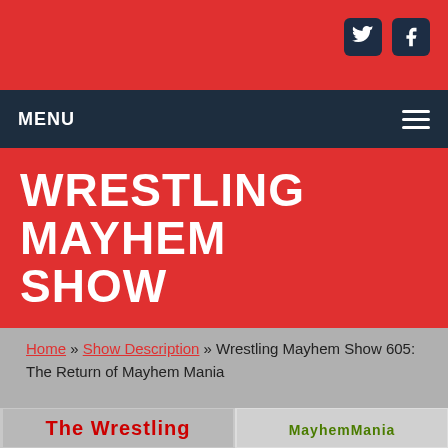Wrestling Mayhem Show website header with social icons (Twitter, Facebook)
MENU
WRESTLING MAYHEM SHOW
Home » Show Description » Wrestling Mayhem Show 605: The Return of Mayhem Mania
[Figure (logo): The Wrestling Mayhem Show 3D red text logo on grey background]
[Figure (logo): WMS Mayhem Mania logo with purple diamond, green and gold lettering]